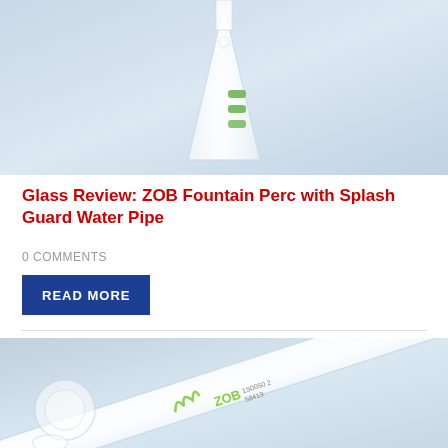[Figure (photo): Close-up photo of a clear glass water pipe (bong) showing the triangular/conical body with green accents, against a light grey-blue background. Only the upper portion of the pipe is visible.]
Glass Review: ZOB Fountain Perc with Splash Guard Water Pipe
0 COMMENTS
READ MORE
[Figure (photo): Close-up photo of a clear glass water pipe (scientific glass) laid diagonally, showing the tube and base with green logo/design markings on the glass, against a light grey background.]